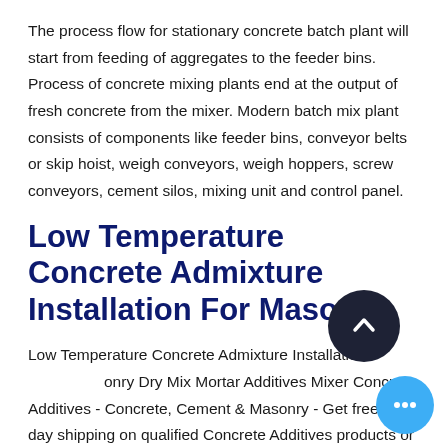The process flow for stationary concrete batch plant will start from feeding of aggregates to the feeder bins. Process of concrete mixing plants end at the output of fresh concrete from the mixer. Modern batch mix plant consists of components like feeder bins, conveyor belts or skip hoist, weigh conveyors, weigh hoppers, screw conveyors, cement silos, mixing unit and control panel.
Low Temperature Concrete Admixture Installation For Masonry
Low Temperature Concrete Admixture Installation For Masonry Dry Mix Mortar Additives Mixer Concrete Additives - Concrete, Cement & Masonry - Get free 2-day shipping on qualified Concrete Additives products or buy Building Materials department products today with Buy Online Pick Up in St.